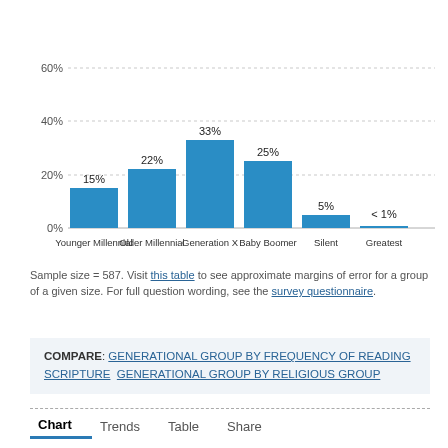[Figure (bar-chart): ]
Sample size = 587. Visit this table to see approximate margins of error for a group of a given size. For full question wording, see the survey questionnaire.
COMPARE: GENERATIONAL GROUP BY FREQUENCY OF READING SCRIPTURE   GENERATIONAL GROUP BY RELIGIOUS GROUP
Chart   Trends   Table   Share